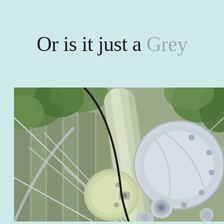Or is it just a Grey
[Figure (photo): Close-up photograph of a bicycle rear hub and wheel spokes, showing a chrome/silver hub with a pale green frame, brake mechanism, cable, and wooden fence in background. The wheel spokes radiate outward in a crossing pattern.]